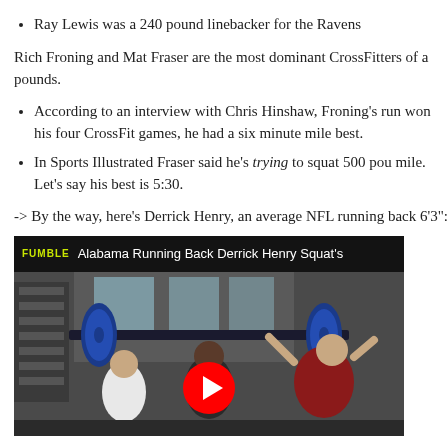Ray Lewis was a 240 pound linebacker for the Ravens
Rich Froning and Mat Fraser are the most dominant CrossFitters of a pounds.
According to an interview with Chris Hinshaw, Froning's run won his four CrossFit games, he had a six minute mile best.
In Sports Illustrated Fraser said he's trying to squat 500 pou mile. Let's say his best is 5:30.
-> By the way, here's Derrick Henry, an average NFL running back 6'3":
[Figure (screenshot): YouTube video thumbnail showing 'Alabama Running Back Derrick Henry Squat's' with FUMBLE logo, gym scene with people squatting heavy barbell, red YouTube play button visible at bottom center.]